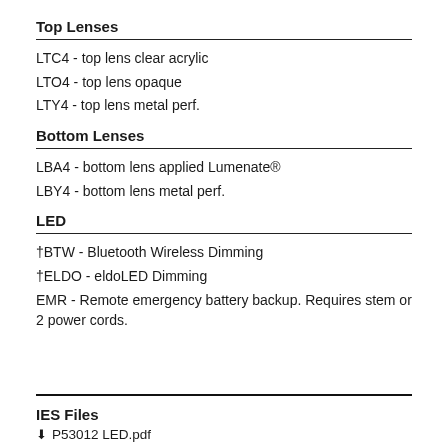Top Lenses
LTC4 - top lens clear acrylic
LTO4 - top lens opaque
LTY4 - top lens metal perf.
Bottom Lenses
LBA4 - bottom lens applied Lumenate®
LBY4 - bottom lens metal perf.
LED
†BTW - Bluetooth Wireless Dimming
†ELDO - eldoLED Dimming
EMR - Remote emergency battery backup. Requires stem or 2 power cords.
IES Files
P53012 LED.pdf